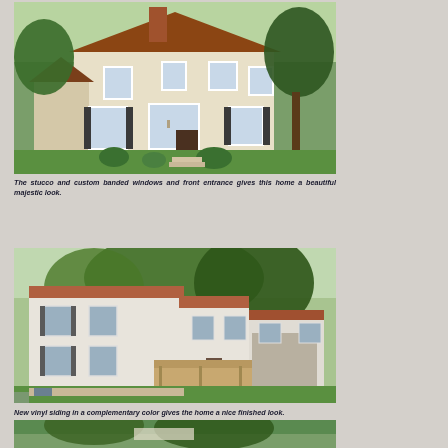[Figure (photo): Front exterior of a two-story stucco home with custom banded windows, front entrance, chimney, and mature trees surrounding the property with green lawn.]
The stucco and custom banded windows and front entrance gives this home a beautiful majestic look.
[Figure (photo): Rear exterior of a two-story home with white vinyl siding, a wooden deck, and mature trees in the background with green lawn.]
New vinyl siding in a complementary color gives the home a nice finished look.
[Figure (photo): Partial view of another exterior photo of the home, partially cut off at the bottom of the page.]